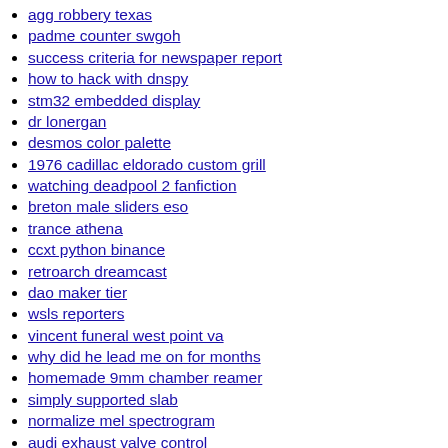agg robbery texas
padme counter swgoh
success criteria for newspaper report
how to hack with dnspy
stm32 embedded display
dr lonergan
desmos color palette
1976 cadillac eldorado custom grill
watching deadpool 2 fanfiction
breton male sliders eso
trance athena
ccxt python binance
retroarch dreamcast
dao maker tier
wsls reporters
vincent funeral west point va
why did he lead me on for months
homemade 9mm chamber reamer
simply supported slab
normalize mel spectrogram
audi exhaust valve control
craigslist richmond va dirt bikes
2007 ford f150 ashtray
aba fishing tournaments 2021
golang mount filesystem